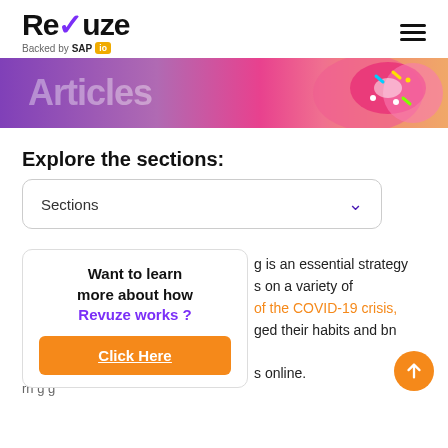Revuze — Backed by SAP io
[Figure (photo): Hero image strip with purple-to-pink gradient and donuts on the right side, with partial white text overlay reading 'Articles']
Explore the sections:
[Figure (screenshot): Sections dropdown UI element with chevron arrow]
Want to learn more about how Revuze works ? Click Here
g is an essential strategy s on a variety of of the COVID-19 crisis, ged their habits and b n online.